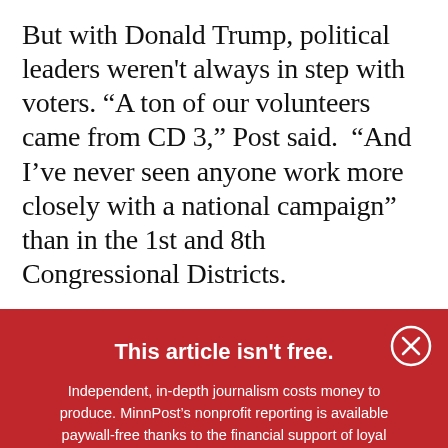But with Donald Trump, political leaders weren't always in step with voters. “A ton of our volunteers came from CD 3,” Post said. “And I’ve never seen anyone work more closely with a national campaign” than in the 1st and 8th Congressional Districts.
This article isn't free.
Independent, in-depth journalism costs money to produce. MinnPost’s nonprofit reporting is available paywall-free thanks to the financial support of loyal readers like you. Will you make a tax-deductible donation today?
[Figure (other): Yellow rounded button with heart icon and text DONATE NOW]